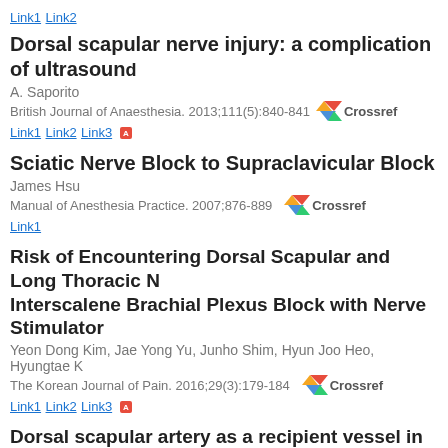Link1 Link2
Dorsal scapular nerve injury: a complication of ultrasoun...
A. Saporito
British Journal of Anaesthesia. 2013;111(5):840-841 [Crossref]
Link1 Link2 Link3
Sciatic Nerve Block to Supraclavicular Block
James Hsu
Manual of Anesthesia Practice. 2007;876-889 [Crossref]
Link1
Risk of Encountering Dorsal Scapular and Long Thoracic N... Interscalene Brachial Plexus Block with Nerve Stimulator...
Yeon Dong Kim, Jae Yong Yu, Junho Shim, Hyun Joo Heo, Hyungtae K...
The Korean Journal of Pain. 2016;29(3):179-184 [Crossref]
Link1 Link2 Link3
Dorsal scapular artery as a recipient vessel in the vessel-d... transfer in head and neck reconstruction
Andrew J. Rosko, Jesse T. Ryan, Eric J. Wizauer, Mohannad Ibrahim, As... Spector
Head & Neck. 2017;39(7):E72-E76 [Crossref]
Link1 Link2